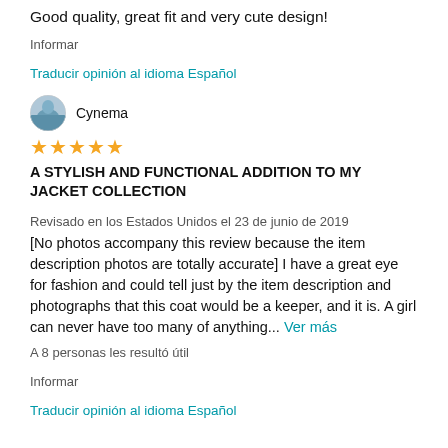Good quality, great fit and very cute design!
Informar
Traducir opinión al idioma Español
Cynema
★★★★★
A STYLISH AND FUNCTIONAL ADDITION TO MY JACKET COLLECTION
Revisado en los Estados Unidos el 23 de junio de 2019
[No photos accompany this review because the item description photos are totally accurate] I have a great eye for fashion and could tell just by the item description and photographs that this coat would be a keeper, and it is. A girl can never have too many of anything... Ver más
A 8 personas les resultó útil
Informar
Traducir opinión al idioma Español